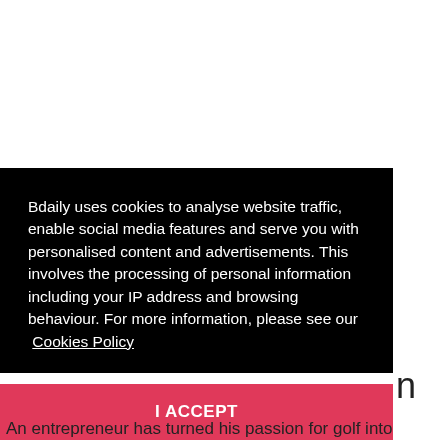Bdaily uses cookies to analyse website traffic, enable social media features and serve you with personalised content and advertisements. This involves the processing of personal information including your IP address and browsing behaviour. For more information, please see our Cookies Policy
I ACCEPT
An entrepreneur has turned his passion for golf into